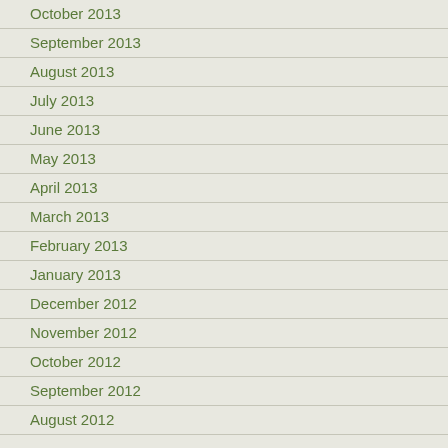October 2013
September 2013
August 2013
July 2013
June 2013
May 2013
April 2013
March 2013
February 2013
January 2013
December 2012
November 2012
October 2012
September 2012
August 2012